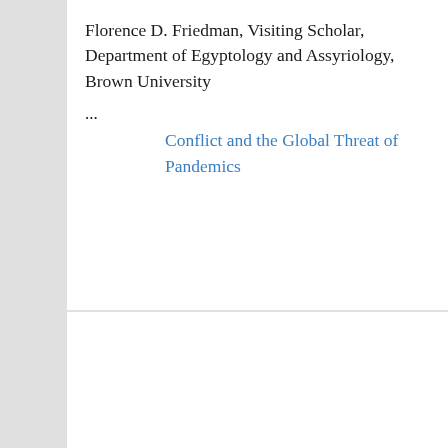Florence D. Friedman, Visiting Scholar, Department of Egyptology and Assyriology, Brown University
...
Conflict and the Global Threat of Pandemics
Location: Geological Lecture Hall, 24 Oxford Street, Cambridge, MA
Michele Barry, Professor of Medicine; Senior Associate Dean of Global Health; Director, Center for Innovation in Global Health,